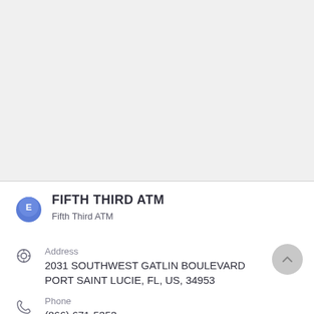[Figure (map): Map area showing location, white/gray background, upper portion of page]
FIFTH THIRD ATM
Fifth Third ATM
Address
2031 SOUTHWEST GATLIN BOULEVARD
PORT SAINT LUCIE, FL, US, 34953
Phone
(866) 671-5353